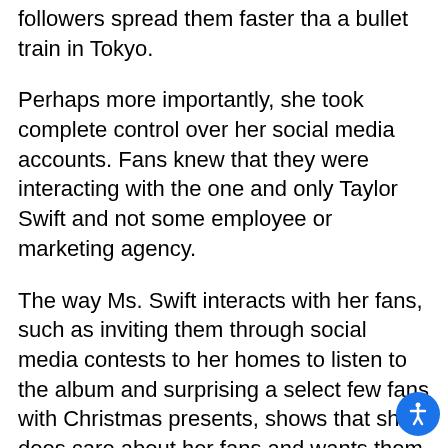followers spread them faster tha a bullet train in Tokyo.
Perhaps more importantly, she took complete control over her social media accounts. Fans knew that they were interacting with the one and only Taylor Swift and not some employee or marketing agency.
The way Ms. Swift interacts with her fans, such as inviting them through social media contests to her homes to listen to the album and surprising a select few fans with Christmas presents, shows that she does care about her fans and wants them to come along for the ride.
Also important is the fact that she took to social media to let Apple know that their plan to not pay artists during their three-month free trial was not a way to treat those who create music. This helped her not only win over fans, but also other artists and